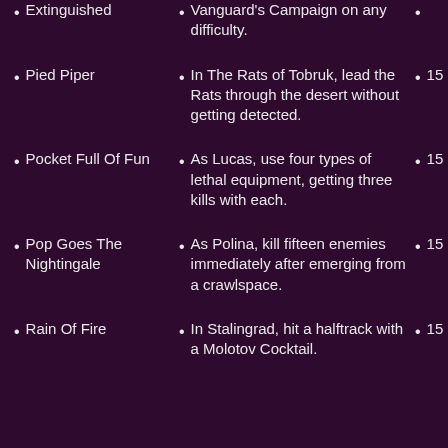Extinguished
Vanguard's Campaign on any difficulty.
15
Pied Piper
In The Rats of Tobruk, lead the Rats through the desert without getting detected.
15
Pocket Full Of Fun
As Lucas, use four types of lethal equipment, getting three kills with each.
15
Pop Goes The Nightingale
As Polina, kill fifteen enemies immediately after emerging from a crawlspace.
15
Rain Of Fire
In Stalingrad, hit a halftrack with a Molotov Cocktail.
15